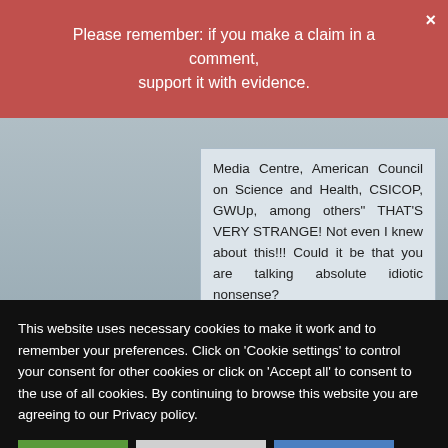Please remember: if you make a claim in a comment, support it with evidence.
Media Centre, American Council on Science and Health, CSICOP, GWUp, among others" THAT'S VERY STRANGE! Not even I knew about this!!! Could it be that you are talking absolute idiotic nonsense?
Edzard on Wednesday 25 August 2021 at 07:19
This website uses necessary cookies to make it work and to remember your preferences. Click on 'Cookie settings' to control your consent for other cookies or click on 'Accept all' to consent to the use of all cookies. By continuing to browse this website you are agreeing to our Privacy policy.
Accept all
Cookie settings
Privacy policy